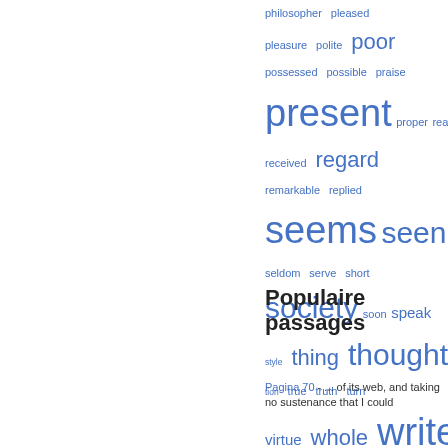[Figure (other): Word cloud with various English words in different sizes and blue color, including: philosopher, pleased, pleasure, polite, poor, possessed, possible, praise, present, proper, reason, received, regard, remarkable, replied, seems, seen, seldom, serve, short, society, soon, speak, style, thing, thought, tion, true, truth, turn, virtue, whole, writer]
Populaire passages
Pagina 70 - ... of its web, and taking no sustenance that I could